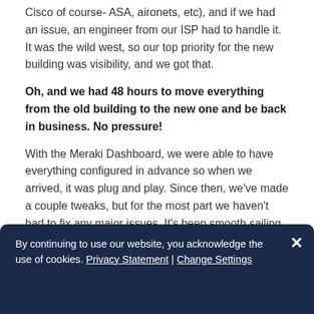Cisco of course- ASA, aironets, etc), and if we had an issue, an engineer from our ISP had to handle it. It was the wild west, so our top priority for the new building was visibility, and we got that.
Oh, and we had 48 hours to move everything from the old building to the new one and be back in business. No pressure!
With the Meraki Dashboard, we were able to have everything configured in advance so when we arrived, it was plug and play. Since then, we've made a couple tweaks, but for the most part we haven't had to fix any major issues. It's been smooth sailing, and now I can see EVERYTHING on the network from anywhere.
By continuing to use our website, you acknowledge the use of cookies. Privacy Statement | Change Settings